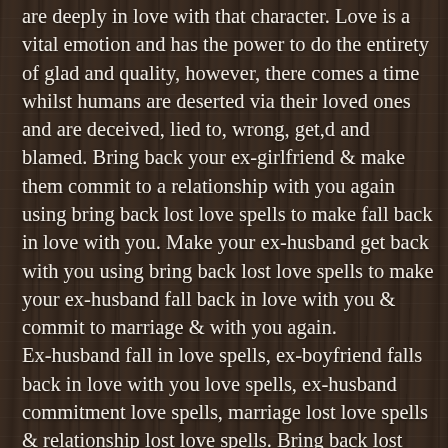are deeply in love with that character. Love is a vital emotion and has the power to do the entirety of glad and quality, however, there comes a time whilst humans are deserted via their loved ones and are deceived, lied to, wrong, get,d and blamed. Bring back your ex-girlfriend & make them commit to a relationship with you again using bring back lost love spells to make fall back in love with you. Make your ex-husband get back with you using bring back lost love spells to make your ex-husband fall back in love with you & commit to marriage & with you again. Ex-husband fall in love spells, ex-boyfriend falls back in love with you love spells, ex-husband commitment love spells, marriage lost love spells & relationship lost love spells. Bring back lost love spells to help ex-lovers resolve past differences & forgive each other for past